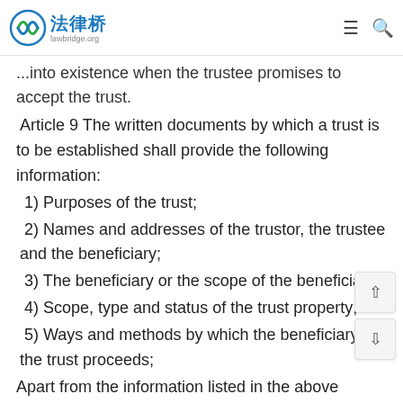法律桥 lawbridge.org
...into existence when the trustee promises to accept the trust.
Article 9 The written documents by which a trust is to be established shall provide the following information:
1) Purposes of the trust;
2) Names and addresses of the trustor, the trustee and the beneficiary;
3) The beneficiary or the scope of the beneficiary;
4) Scope, type and status of the trust property;
5) Ways and methods by which the beneficiary get the trust proceeds;
Apart from the information listed in the above paragraph, duration of the trust, methods of management of the trust property, remuneration of the trustee, methods of designation of new trustees, reasons for terminating a trust and other information